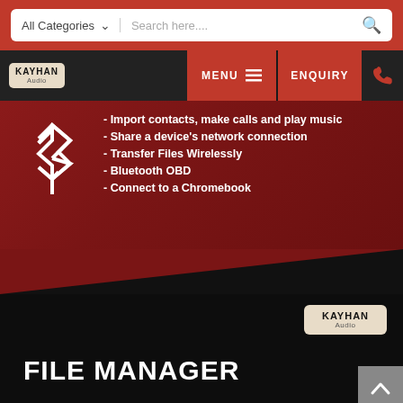[Figure (screenshot): Website screenshot of Kayhan Audio product page showing search bar, navigation menu, Bluetooth features list, File Manager section heading, and product thumbnails at bottom]
- Import contacts, make calls and play music
- Share a device's network connection
- Transfer Files Wirelessly
- Bluetooth OBD
- Connect to a Chromebook
FILE MANAGER